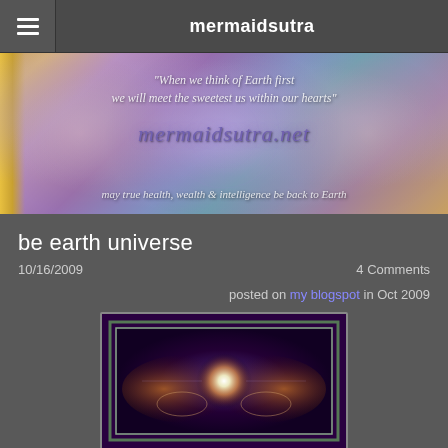mermaidsutra
[Figure (photo): Website banner for mermaidsutra.net with purple and golden hues, featuring quote 'When we think of Earth first we will meet the sweetest us within our hearts', site name 'mermaidsutra.net', and tagline 'may true health, wealth & intelligence be back to Earth']
be earth universe
10/16/2009
4 Comments
posted on my blogspot in Oct 2009
[Figure (photo): Colorful psychedelic/digital art image with purple background, green framed border, and glowing light at center with symmetric geometric patterns]